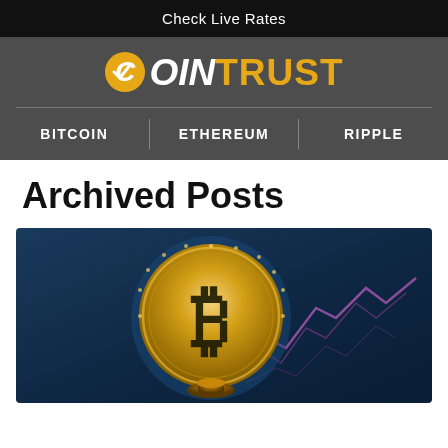Check Live Rates
[Figure (logo): CoinTrust logo with orange checkmark coin icon on dark grey background, text reads COINTRUST]
BITCOIN   ETHEREUM   RIPPLE
Archived Posts
[Figure (photo): Gold Bitcoin coin held upright against a blue blurred background with pink/purple stock chart lines]